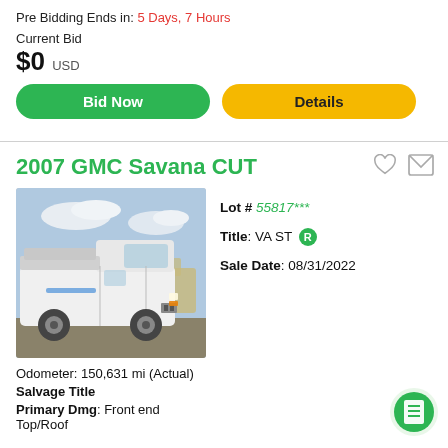Pre Bidding Ends in: 5 Days, 7 Hours
Current Bid
$0 USD
Bid Now
Details
2007 GMC Savana CUT
[Figure (photo): White GMC Savana utility van parked on gravel, front three-quarter view, cloudy sky background.]
Lot # 55817***
Title: VA ST R
Sale Date: 08/31/2022
Odometer: 150,631 mi (Actual)
Salvage Title
Primary Dmg: Front end
Top/Roof